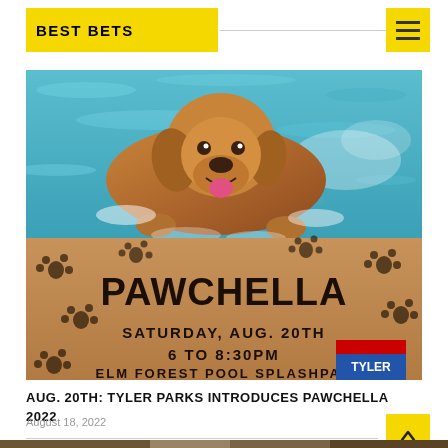BEST BETS
[Figure (photo): A golden retriever dog swimming happily in a pool, combined with an event poster for Pawchella on Saturday Aug 20th 6 to 8:30pm at Elm Forest Pool Splashpad]
AUG. 20TH: TYLER PARKS INTRODUCES PAWCHELLA 2022
August 18, 2022